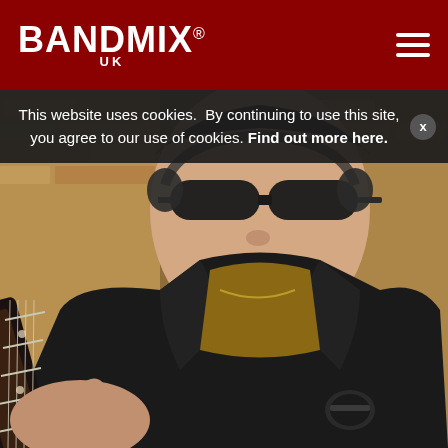BANDMIX® UK
This website uses cookies.  By continuing to use this site, you agree to our use of cookies. Find out more here.
[Figure (photo): A man wearing sunglasses and a black leather jacket, holding the neck of an electric guitar, posed against a brick wall background. He wears a patterned shirt and a watch.]